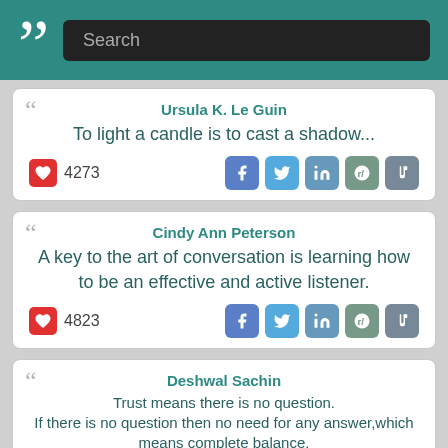[Figure (screenshot): App header with quotation mark logo and search bar]
Ursula K. Le Guin
To light a candle is to cast a shadow...
❤ 4273
Cindy Ann Peterson
A key to the art of conversation is learning how to be an effective and active listener.
❤ 4823
Deshwal Sachin
Trust means there is no question. If there is no question then no need for any answer,which means complete balance. Always keep in your mind trust is the base for any kind of relationship.